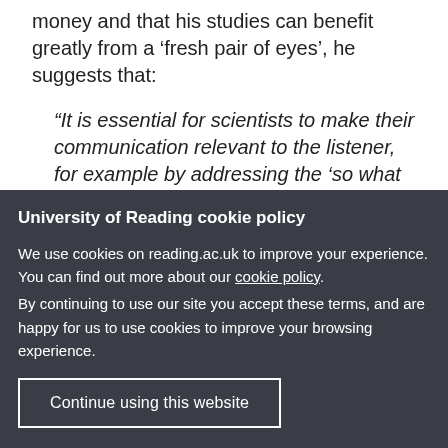money and that his studies can benefit greatly from a 'fresh pair of eyes', he suggests that:
“It is essential for scientists to make their communication relevant to the listener, for example by addressing the ‘so what – why does this matter to me?’ question. This means reaching...
University of Reading cookie policy
We use cookies on reading.ac.uk to improve your experience. You can find out more about our cookie policy.
By continuing to use our site you accept these terms, and are happy for us to use cookies to improve your browsing experience.
Continue using this website